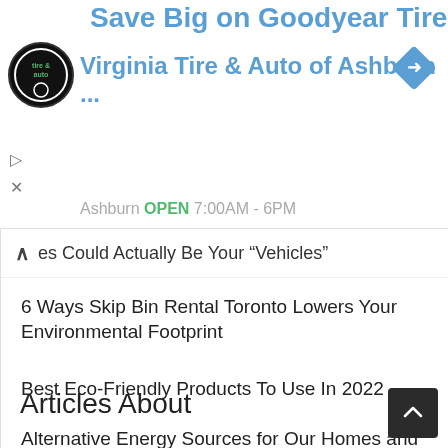[Figure (screenshot): Advertisement banner for Virginia Tire & Auto of Ashburn showing logo, title 'Save Big on Goodyear Tires', subtitle 'Virginia Tire & Auto of Ashburn ...', navigation diamond icon, play and close buttons, and partial location/hours text]
es Could Actually Be Your “Vehicles”
6 Ways Skip Bin Rental Toronto Lowers Your Environmental Footprint
Best Eco-Friendly Products To Use In 2022
Alternative Energy Sources for Our Homes and Businesses
Beavers to Be Protected by Law in England from October
Things You're Doing That Are Actually Bad for the Environment
Articles About